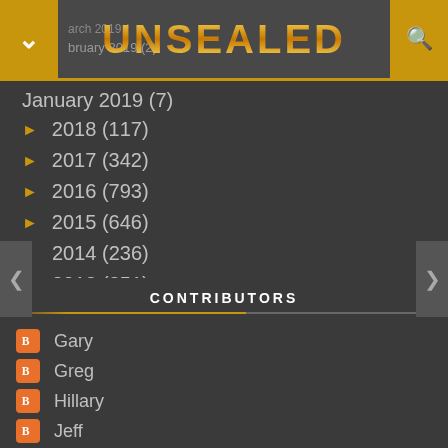UNSEALED
January 2019 (7)
► 2018 (117)
► 2017 (342)
► 2016 (793)
► 2015 (646)
2014 (236)
2013 (351)
2012 (278)
► 2011 (309)
► 2010 (175)
CONTRIBUTORS
Gary
Greg
Hillary
Jeff